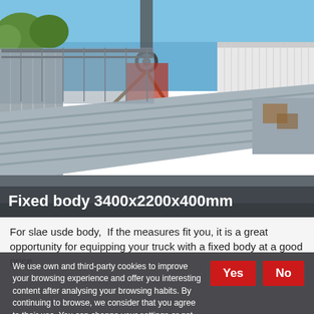[Figure (photo): Outdoor photo of a large grey flat-bed / fixed body truck body being lifted by a crane hook and chains, with a blue sky and industrial buildings in the background. The body is grey painted steel with ribbed panels.]
Fixed body 3400x2200x400mm
For slae usde body,  If the measures fit you, it is a great opportunity for equipping your truck with a fixed body at a good price.
We use own and third-party cookies to improve your browsing experience and offer you interesting content after analysing your browsing habits. By continuing to browse, we consider that you agree to their use. You can change your settings or get more information at our cookies policy.